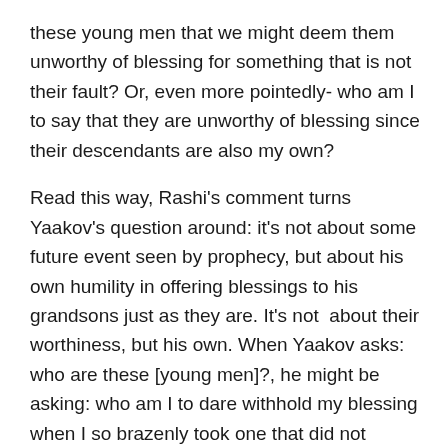these young men that we might deem them unworthy of blessing for something that is not their fault? Or, even more pointedly- who am I  to say that they are unworthy of blessing since their descendants are also my own?
Read this way, Rashi's comment turns Yaakov's question around: it's not about some future event seen by prophecy, but about his own humility in offering blessings to his grandsons just as they are. It's not  about their worthiness, but his own. When Yaakov asks: who are these [young men]?, he might be asking: who am I to dare withhold my blessing when I so brazenly took one that did not belong to me? Seen this way, Yaakov's question becomes one for all of us: how dare we withhold our blessings from others, even if they are, just like the rest of humanity, imperfect people who do imperfect things?